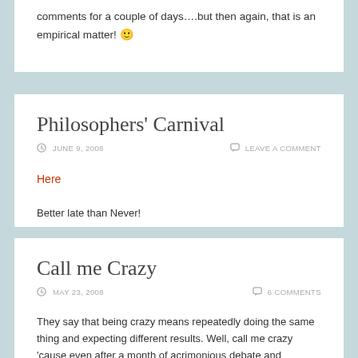comments for a couple of days….but then again, that is an empirical matter! 🙂
Philosophers' Carnival
JUNE 9, 2008   LEAVE A COMMENT
Here
Better late than Never!
Call me Crazy
MAY 23, 2008   6 COMMENTS
They say that being crazy means repeatedly doing the same thing and expecting different results. Well, call me crazy 'cause even after a month of acrimonious debate and philosophical